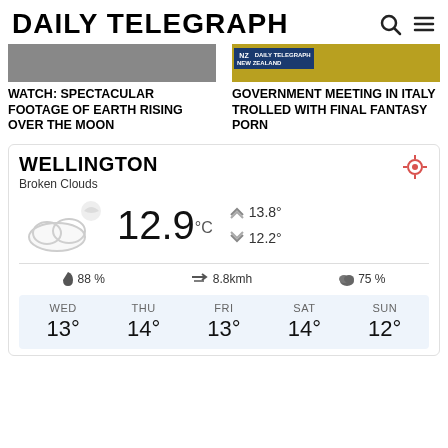DAILY TELEGRAPH
WATCH: SPECTACULAR FOOTAGE OF EARTH RISING OVER THE MOON
GOVERNMENT MEETING IN ITALY TROLLED WITH FINAL FANTASY PORN
WELLINGTON
Broken Clouds
12.9 °C
13.8°
12.2°
88 %
8.8kmh
75 %
| WED | THU | FRI | SAT | SUN |
| --- | --- | --- | --- | --- |
| 13° | 14° | 13° | 14° | 12° |